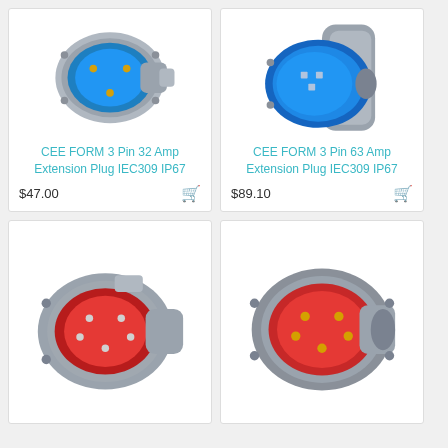[Figure (photo): Blue CEE industrial extension plug with grey housing, 3 pin, IEC309 IP67 rated]
CEE FORM 3 Pin 32 Amp Extension Plug IEC309 IP67
$47.00
[Figure (photo): Blue CEE industrial extension plug with grey housing, 3 pin 63 Amp, IEC309 IP67 rated]
CEE FORM 3 Pin 63 Amp Extension Plug IEC309 IP67
$89.10
[Figure (photo): Red CEE industrial extension plug with grey housing, multiple pins, partially visible]
[Figure (photo): Red CEE industrial extension plug with grey housing, multiple pins, front-facing view]